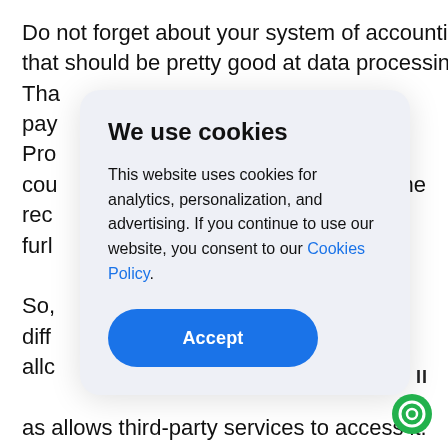Do not forget about your system of accounting that should be pretty good at data processing. That will be definitely useful because payment Pro country records further So, diff allo as allows third-party services to access it.
We use cookies
This website uses cookies for analytics, personalization, and advertising. If you continue to use our website, you consent to our Cookies Policy.
Accept